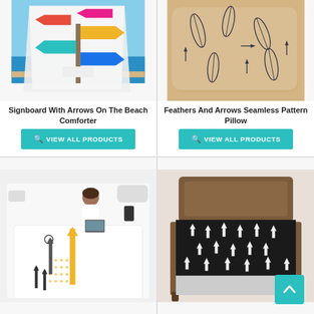[Figure (photo): Comforter/blanket with colorful signboard arrows on a beach background]
Signboard With Arrows On The Beach Comforter
VIEW ALL PRODUCTS
[Figure (photo): Pillow with feathers and arrows seamless pattern on beige background]
Feathers And Arrows Seamless Pattern Pillow
VIEW ALL PRODUCTS
[Figure (photo): Woman lying on a bed with a comforter featuring arrows and dot patterns in yellow and black]
[Figure (photo): Bed with dark wooden headboard and black bedsheet with white arrows pattern; teal back-to-top button overlay]